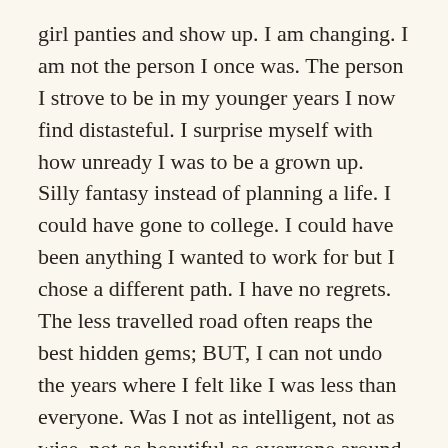girl panties and show up. I am changing. I am not the person I once was. The person I strove to be in my younger years I now find distasteful. I surprise myself with how unready I was to be a grown up. Silly fantasy instead of planning a life. I could have gone to college. I could have been anything I wanted to work for but I chose a different path. I have no regrets. The less travelled road often reaps the best hidden gems; BUT, I can not undo the years where I felt like I was less than everyone. Was I not as intelligent, not as wise, not as beautiful as everyone around me? Maybe but unlikely. What was I? Complicit. No excuses. My sisters and I were raised without much expectation so I rose to that level. I was complicit in my own failure to achieve something greater than I had been exposed to .
It is time to end our sacrifice. I need to seek help